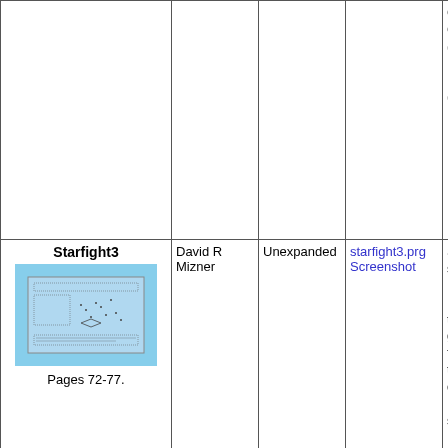| Game | Author | Memory | Downloads | Description |
| --- | --- | --- | --- | --- |
|  |  |  |  | Cont- Crsr- (left) Righ F5 (u (dow |
| Starfight3
Pages 72-77. | David R Mizner | Unexpanded | starfight3.prg
Screenshot | Star T style Move Enter throu galax fire p torpe destr Kling ships Kling fire a you t long a con Cont Follo scree |